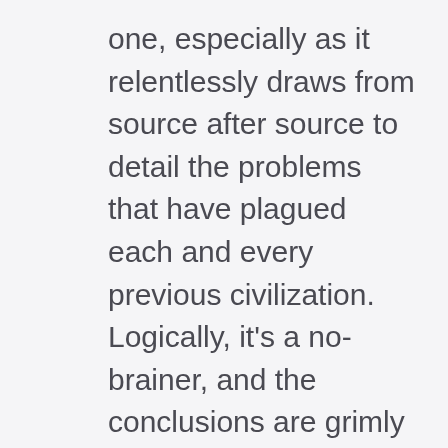one, especially as it relentlessly draws from source after source to detail the problems that have plagued each and every previous civilization. Logically, it's a no-brainer, and the conclusions are grimly easy to parse. Simply put, there are too many mouths, we're pushing the environment too hard, and our rate of